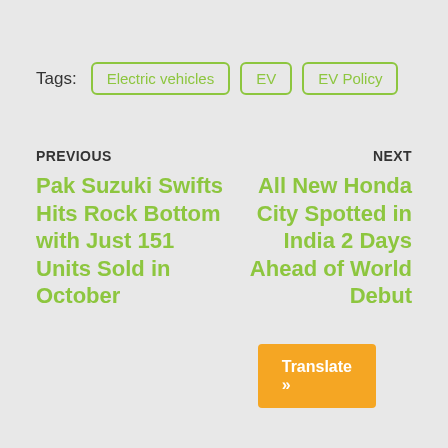Tags: Electric vehicles | EV | EV Policy
PREVIOUS
NEXT
Pak Suzuki Swifts Hits Rock Bottom with Just 151 Units Sold in October
All New Honda City Spotted in India 2 Days Ahead of World Debut
Translate »